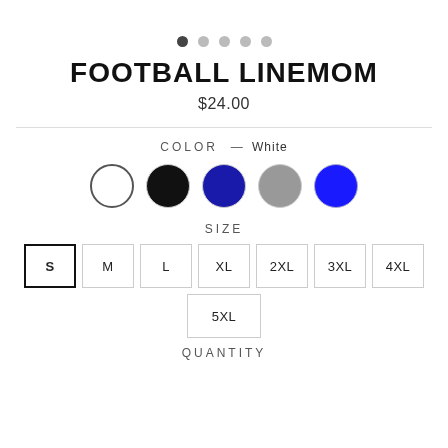[Figure (other): Image carousel pagination dots, 5 circles, first one dark/active]
FOOTBALL LINEMOM
$24.00
COLOR — White
[Figure (other): Color swatches: White (selected), Black, Navy, Gray, Blue]
SIZE
S M L XL 2XL 3XL 4XL 5XL (S selected)
QUANTITY